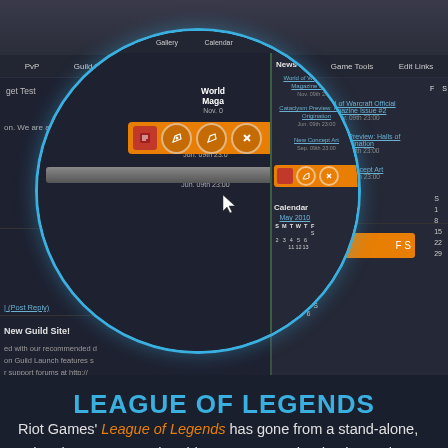[Figure (screenshot): Screenshot of a World of Warcraft guild website interface with a circular zoom/magnifier overlay highlighted in blue, showing navigation bar with PvP, Guild Roster, Gallery, Calendar, Polls, Game Tools, Edit Links tabs, a news panel on the right, and a calendar section showing May 2010. The content area shows guild information and an orange toolbar with edit/delete buttons.]
LEAGUE OF LEGENDS
Riot Games' League of Legends has gone from a stand-alone, spirtual successor to the old DotA maps to the dominant player in the